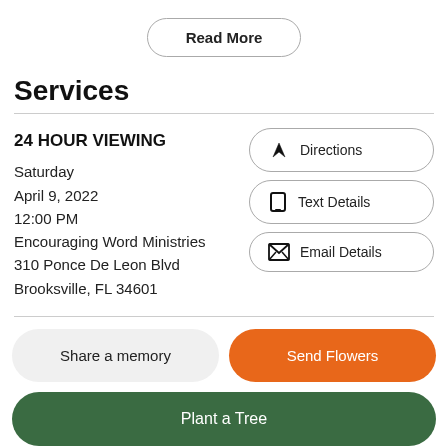Read More
Services
24 HOUR VIEWING
Saturday
April 9, 2022
12:00 PM
Encouraging Word Ministries
310 Ponce De Leon Blvd
Brooksville, FL 34601
Directions
Text Details
Email Details
Share a memory
Send Flowers
Plant a Tree